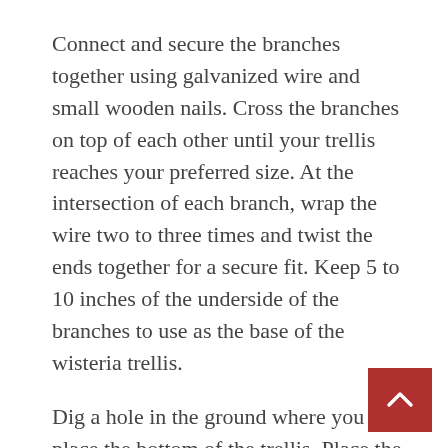Connect and secure the branches together using galvanized wire and small wooden nails. Cross the branches on top of each other until your trellis reaches your preferred size. At the intersection of each branch, wrap the wire two to three times and twist the ends together for a secure fit. Keep 5 to 10 inches of the underside of the branches to use as the base of the wisteria trellis.
Dig a hole in the ground where you will place the bottom of the trellis. Place the branches in the holes and fill the edges with soil. Press around the base of the trellis to make sure the branches are snug and secure in the ground.
Provide adequate support for the wisteria by attaching 4- to 6-inch rows of wire from the tr and around the wisteria vines. Use sturdy and